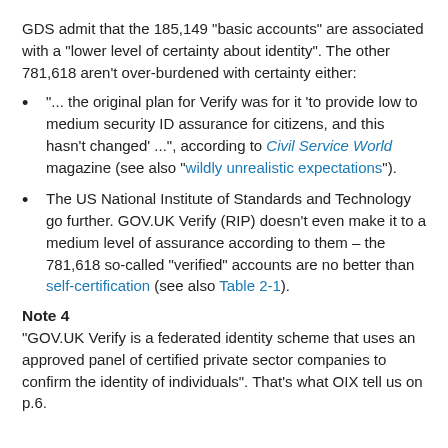GDS admit that the 185,149 "basic accounts" are associated with a "lower level of certainty about identity". The other 781,618 aren't over-burdened with certainty either:
"... the original plan for Verify was for it 'to provide low to medium security ID assurance for citizens, and this hasn't changed' ...", according to Civil Service World magazine (see also "wildly unrealistic expectations").
The US National Institute of Standards and Technology go further. GOV.UK Verify (RIP) doesn't even make it to a medium level of assurance according to them – the 781,618 so-called "verified" accounts are no better than self-certification (see also Table 2-1).
Note 4
"GOV.UK Verify is a federated identity scheme that uses an approved panel of certified private sector companies to confirm the identity of individuals". That's what OIX tell us on p.6.